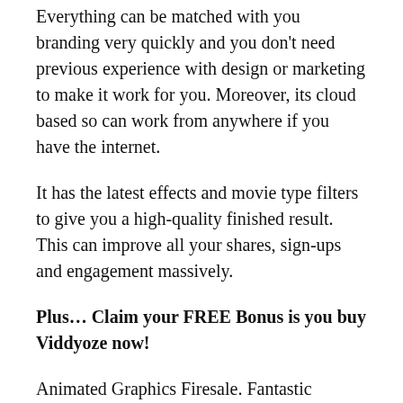Everything can be matched with you branding very quickly and you don't need previous experience with design or marketing to make it work for you. Moreover, its cloud based so can work from anywhere if you have the internet.
It has the latest effects and movie type filters to give you a high-quality finished result. This can improve all your shares, sign-ups and engagement massively.
Plus… Claim your FREE Bonus is you buy Viddyoze now!
Animated Graphics Firesale. Fantastic graphics you can use in your videos! Value $17